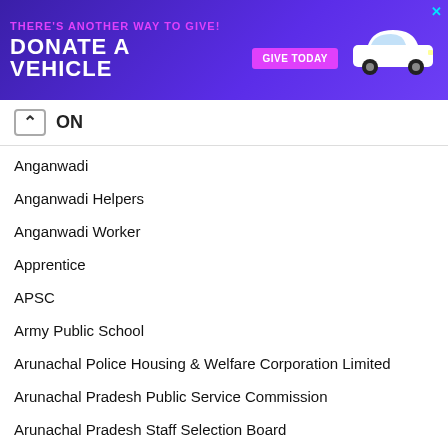[Figure (illustration): Advertisement banner: purple background with text 'THERE'S ANOTHER WAY TO GIVE! DONATE A VEHICLE' with a pink 'GIVE TODAY' button and white car graphic on the right. Blue X close button top right.]
ON
Anganwadi
Anganwadi Helpers
Anganwadi Worker
Apprentice
APSC
Army Public School
Arunachal Police Housing & Welfare Corporation Limited
Arunachal Pradesh Public Service Commission
Arunachal Pradesh Staff Selection Board
Assam Co-operative Apex Bank Limited
Assam Legislative Assembly
Assam Postal Circle